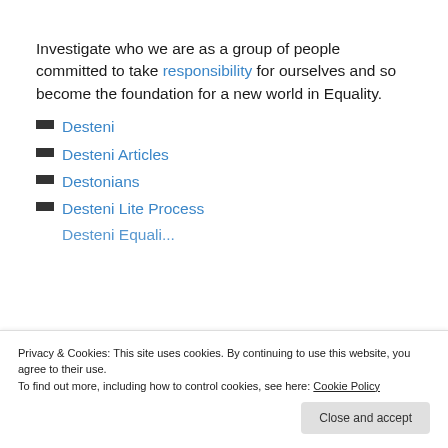Investigate who we are as a group of people committed to take responsibility for ourselves and so become the foundation for a new world in Equality.
Desteni
Desteni Articles
Destonians
Desteni Lite Process
Privacy & Cookies: This site uses cookies. By continuing to use this website, you agree to their use.
To find out more, including how to control cookies, see here: Cookie Policy
Close and accept
Desteni Equali...